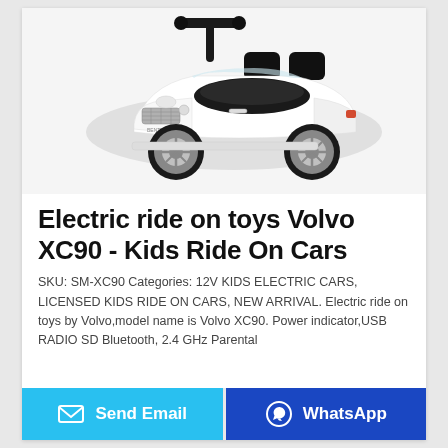[Figure (photo): White toy ride-on car styled like a Bentley/Volvo XC90 with black seat, chrome wheels, and push-bar handle]
Electric ride on toys Volvo XC90 - Kids Ride On Cars
SKU: SM-XC90 Categories: 12V KIDS ELECTRIC CARS, LICENSED KIDS RIDE ON CARS, NEW ARRIVAL. Electric ride on toys by Volvo,model name is Volvo XC90. Power indicator,USB RADIO SD Bluetooth, 2.4 GHz Parental
Send Email
WhatsApp